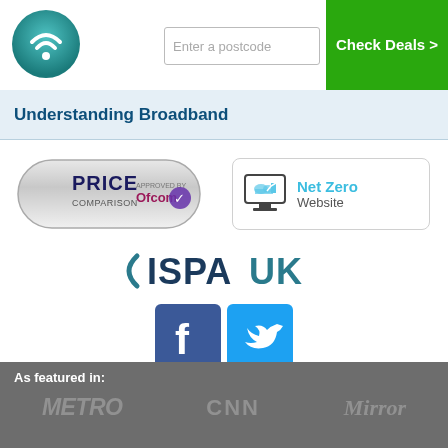[Figure (logo): Broadband comparison site logo: teal circular wifi icon]
[Figure (screenshot): Enter a postcode input field]
[Figure (other): Check Deals green button with arrow]
Understanding Broadband
[Figure (logo): Price Comparison approved by Ofcom badge with silver rounded rectangle style]
[Figure (logo): Net Zero Website badge with monitor icon and teal text]
[Figure (logo): ISPA UK logo in dark navy/teal text]
[Figure (logo): Facebook and Twitter social media icons]
As featured in:
[Figure (logo): METRO, CNN, Mirror media logos in grey on dark grey footer background]